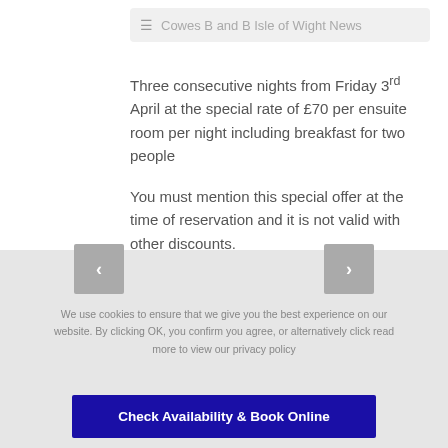Cowes B and B Isle of Wight News
Three consecutive nights from Friday 3rd April at the special rate of £70 per ensuite room per night including breakfast for two people
You must mention this special offer at the time of reservation and it is not valid with other discounts.
We use cookies to ensure that we give you the best experience on our website. By clicking OK, you confirm you agree, or alternatively click read more to view our privacy policy
Check Availability & Book Online